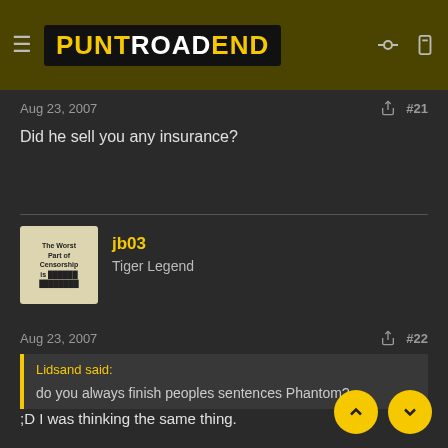PUNT ROAD END
Aug 23, 2007   #21
Did he sell you any insurance?
jb03
Tiger Legend
Aug 23, 2007   #22
Lidsand said:
do you always finish peoples sentences Phantom?
;D I was thinking the same thing.